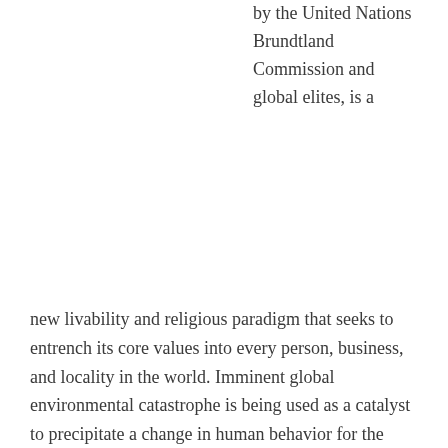by the United Nations Brundtland Commission and global elites, is a
new livability and religious paradigm that seeks to entrench its core values into every person, business, and locality in the world. Imminent global environmental catastrophe is being used as a catalyst to precipitate a change in human behavior for the good of the planet and the survival of future generations.

When researching Sustainable Development it is important to study the words and understand the 'newspeak.' The connotations behind Sustainable Development terms deviate significantly from our Judeo-Christian culture. If more Americans understood this, they would admonish it.